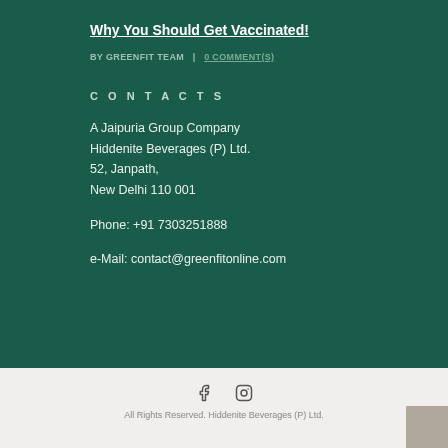Why You Should Get Vaccinated!
BY GREENFIT TEAM  |  0 COMMENT(S)
CONTACTS
A Jaipuria Group Company
Hiddenite Beverages (P) Ltd.
52, Janpath,
New Delhi 110 001
Phone: +91 7303251888
e-Mail: contact@greenfitonline.com
All Rights Reserved. Hiddenite Beverages (P) Ltd.